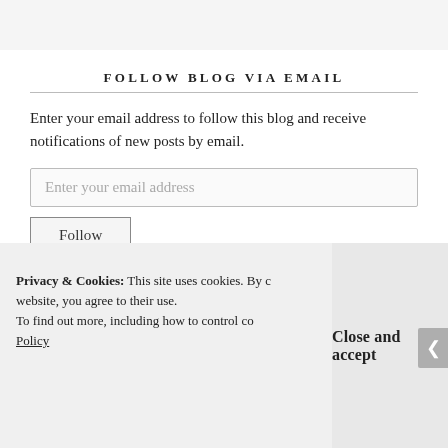FOLLOW BLOG VIA EMAIL
Enter your email address to follow this blog and receive notifications of new posts by email.
[Figure (screenshot): Email input field with placeholder text 'Enter your email address']
[Figure (screenshot): Follow button]
Privacy & Cookies: This site uses cookies. By continuing to use this website, you agree to their use. To find out more, including how to control cookies, see here: Cookie Policy
Close and accept